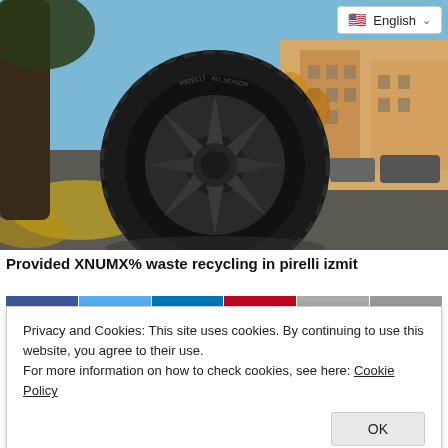English
[Figure (photo): A large dark Pirelli all-season car tire leaning against a tree trunk, photographed at street level in an urban setting with autumn leaves and European-style buildings in the background under a blue sky.]
Provided XNUMX% waste recycling in pirelli izmit
[Figure (other): Social sharing buttons: Facebook (blue), Twitter (light blue), LinkedIn (dark blue), Pinterest (red), Email (grey), Print (grey)]
Privacy and Cookies: This site uses cookies. By continuing to use this website, you agree to their use.
For more information on how to check cookies, see here: Cookie Policy
OK
Waste Certificate' kazanwas